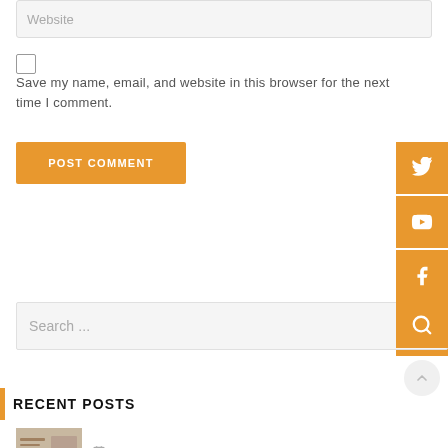Website
Save my name, email, and website in this browser for the next time I comment.
POST COMMENT
[Figure (infographic): Social media icons sidebar: Twitter, YouTube, Facebook, LinkedIn — orange square backgrounds on the right edge]
Search ...
RECENT POSTS
August 23, 2022